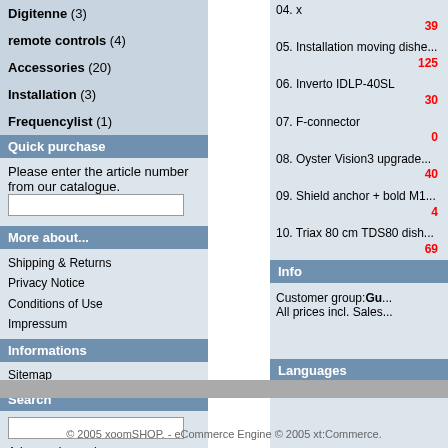Digitenne (3)
remote controls (4)
Accessories (20)
Installation (3)
Frequencylist (1)
Quick purchase
Please enter the article number from our catalogue.
More about...
Shipping & Returns
Privacy Notice
Conditions of Use
Impressum
Informations
Sitemap
Search
Advanced search
04. x
39
05. Installation moving dishe...
125
06. Inverto IDLP-40SL
30
07. F-connector
0
08. Oyster Vision3 upgrade...
40
09. Shield anchor + bold M1...
4
10. Triax 80 cm TDS80 dish...
69
Info
Customer group: Guest
All prices incl. Sales...
Languages
© 2005 xoomSHOP. - eCommerce Engine © 2005 xt:Commerce.